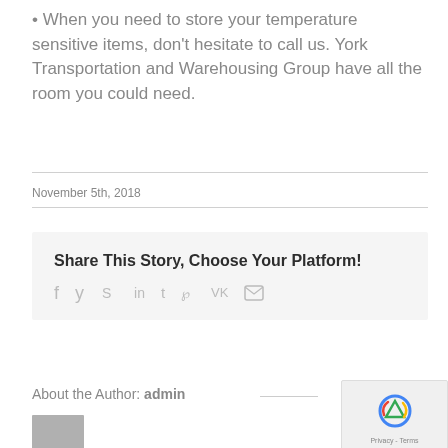When you need to store your temperature sensitive items, don't hesitate to call us. York Transportation and Warehousing Group have all the room you could need.
November 5th, 2018
Share This Story, Choose Your Platform!
[Figure (infographic): Social media sharing icons: facebook, twitter, reddit, linkedin, tumblr, pinterest, vk, email]
About the Author: admin
[Figure (photo): Author avatar placeholder (grey square)]
[Figure (other): reCAPTCHA privacy badge with logo and Privacy - Terms text]